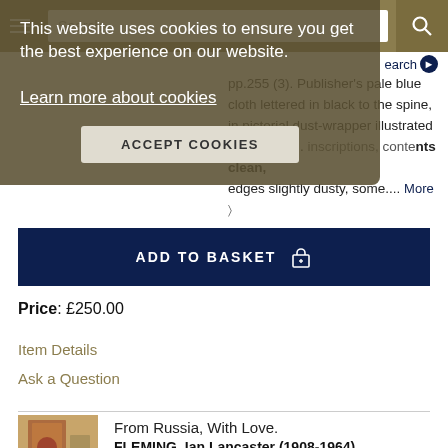This website uses cookies to ensure you get the best experience on our website. Learn more about cookies
ACCEPT COOKIES
pp.255 (3). Publisher's pale blue cloth lettered in black to the spine, in pictorial dust-wrapper illustrated by Richard... inscriptions, contents clean, edges slightly dusty, some.... More
ADD TO BASKET
Price: £250.00
Item Details
Ask a Question
From Russia, With Love.
FLEMING, Ian Lancaster (1908-1964).